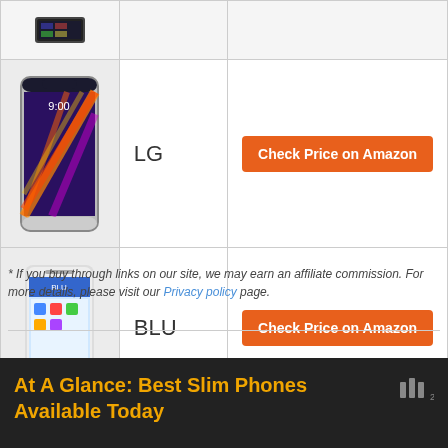| Phone Image | Brand | Link |
| --- | --- | --- |
| [small phone image] |  |  |
| [LG phone image] | LG | Check Price on Amazon |
| [BLU phone image] | BLU | Check Price on Amazon |
* If you buy through links on our site, we may earn an affiliate commission. For more details, please visit our Privacy policy page.
At A Glance: Best Slim Phones Available Today